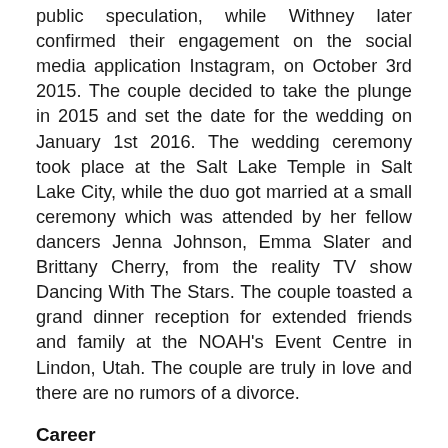public speculation, while Withney later confirmed their engagement on the social media application Instagram, on October 3rd 2015. The couple decided to take the plunge in 2015 and set the date for the wedding on January 1st 2016. The wedding ceremony took place at the Salt Lake Temple in Salt Lake City, while the duo got married at a small ceremony which was attended by her fellow dancers Jenna Johnson, Emma Slater and Brittany Cherry, from the reality TV show Dancing With The Stars. The couple toasted a grand dinner reception for extended friends and family at the NOAH's Event Centre in Lindon, Utah. The couple are truly in love and there are no rumors of a divorce.
Career
In his biography, Carson states that he is passionate about dance and it is due to his shared interests